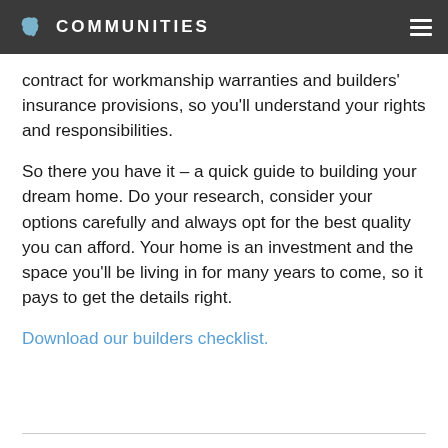COMMUNITIES
contract for workmanship warranties and builders' insurance provisions, so you'll understand your rights and responsibilities.
So there you have it – a quick guide to building your dream home. Do your research, consider your options carefully and always opt for the best quality you can afford. Your home is an investment and the space you'll be living in for many years to come, so it pays to get the details right.
Download our builders checklist.